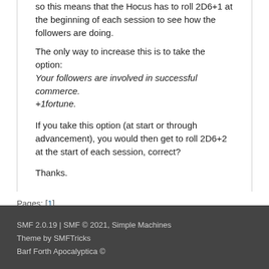so this means that the Hocus has to roll 2D6+1 at the beginning of each session to see how the followers are doing.
The only way to increase this is to take the option: Your followers are involved in successful commerce. +1fortune.
If you take this option (at start or through advancement), you would then get to roll 2D6+2 at the start of each session, correct?
Thanks.
Pages: [1]
SMF 2.0.19 | SMF © 2021, Simple Machines
Theme by SMFTricks
Barf Forth Apocalyptica ©